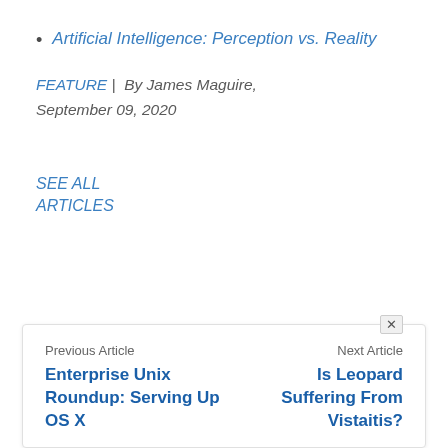Artificial Intelligence: Perception vs. Reality
FEATURE | By James Maguire, September 09, 2020
SEE ALL
ARTICLES
Previous Article
Enterprise Unix Roundup: Serving Up OS X
Next Article
Is Leopard Suffering From Vistaitis?